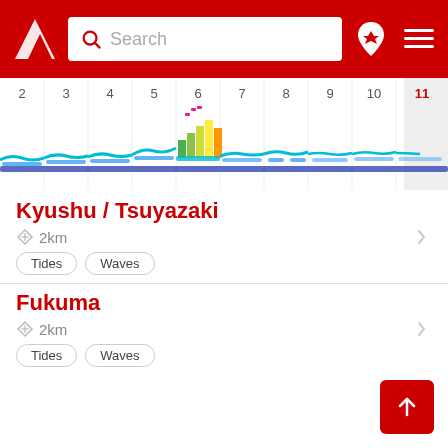[Figure (screenshot): App header with red background, logo, search bar, location pin icon and hamburger menu]
[Figure (bar-chart): Hourly tide/wave timeline strip showing hours 2 through 11, with colored bars around hour 6 (green, yellow, orange bars) and wave indicators in cyan/blue]
Kyushu / Tsuyazaki
2km
Tides  Waves
Fukuma
2km
Tides  Waves
Nishifukuma
3km
Tides  Waves
Koga
6km